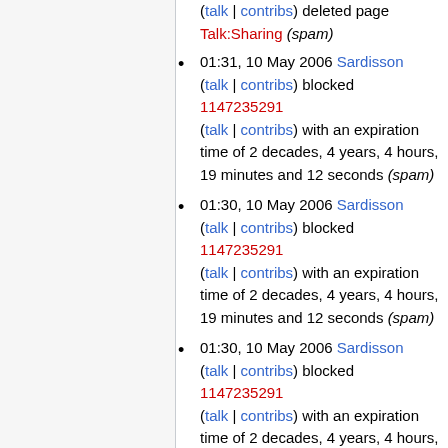(talk | contribs) deleted page Talk:Sharing (spam)
01:31, 10 May 2006 Sardisson (talk | contribs) blocked 1147235291 (talk | contribs) with an expiration time of 2 decades, 4 years, 4 hours, 19 minutes and 12 seconds (spam)
01:30, 10 May 2006 Sardisson (talk | contribs) blocked 1147235291 (talk | contribs) with an expiration time of 2 decades, 4 years, 4 hours, 19 minutes and 12 seconds (spam)
01:30, 10 May 2006 Sardisson (talk | contribs) blocked 1147235291 (talk | contribs) with an expiration time of 2 decades, 4 years, 4 hours, 19 minutes and 12 seconds (spam)
01:30, 10 May 2006 Sardisson (talk | contribs) blocked 1147235291 (talk | contribs) with an expiration time of...